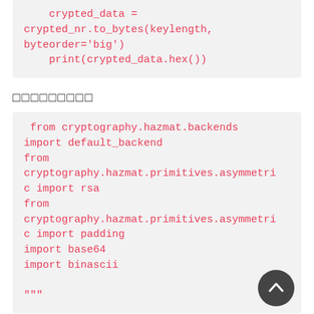[Figure (screenshot): Code block showing: crypted_data = crypted_nr.to_bytes(keylength, byteorder='big')    print(crypted_data.hex())]
□□□□□□□□□
[Figure (screenshot): Code block showing Python imports: from cryptography.hazmat.backends import default_backend  from cryptography.hazmat.primitives.asymmetric import rsa  from cryptography.hazmat.primitives.asymmetric import padding  import base64  import binascii  """]